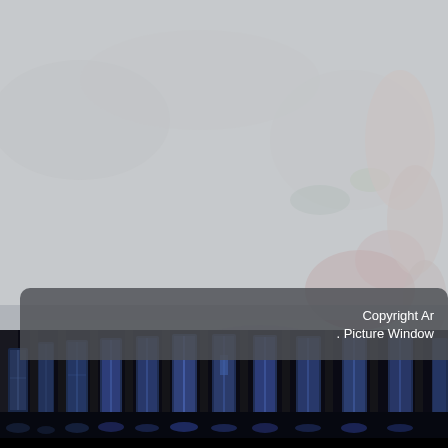[Figure (photo): Composite image: upper portion shows a washed-out, desaturated photo of water surface with hands reaching in, with colorful debris (reds, greens) visible through a heavy grey/white overlay. Lower portion shows a dark interior architectural scene with tall arched windows lit in blue, resembling a large hall or station. A semi-transparent dark grey rounded rectangle overlays the transition zone containing copyright text.]
Copyright Ar . Picture Window